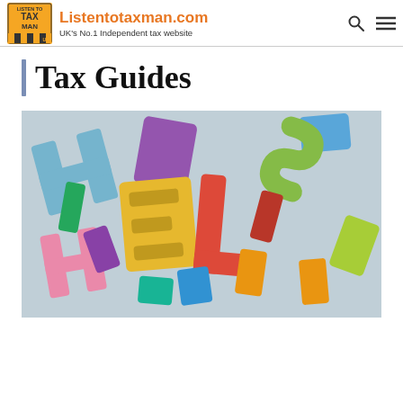Listentotaxman.com — UK's No.1 Independent tax website
Tax Guides
[Figure (photo): Colorful 3D foam puzzle letters spelling HELP scattered together on a surface, showing letters in red, yellow, green, blue, pink, purple and orange colors.]